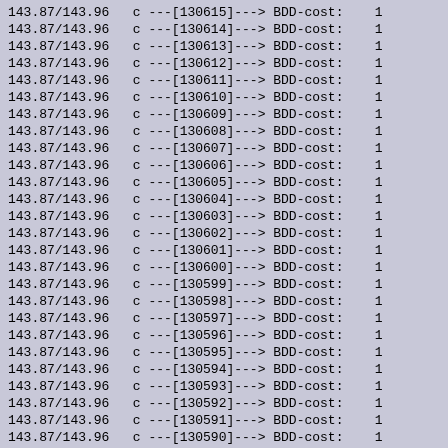143.87/143.96   c ---[130615]---> BDD-cost:    1
143.87/143.96   c ---[130614]---> BDD-cost:    1
143.87/143.96   c ---[130613]---> BDD-cost:    1
143.87/143.96   c ---[130612]---> BDD-cost:    1
143.87/143.96   c ---[130611]---> BDD-cost:    1
143.87/143.96   c ---[130610]---> BDD-cost:    1
143.87/143.96   c ---[130609]---> BDD-cost:    1
143.87/143.96   c ---[130608]---> BDD-cost:    1
143.87/143.96   c ---[130607]---> BDD-cost:    1
143.87/143.96   c ---[130606]---> BDD-cost:    1
143.87/143.96   c ---[130605]---> BDD-cost:    1
143.87/143.96   c ---[130604]---> BDD-cost:    1
143.87/143.96   c ---[130603]---> BDD-cost:    1
143.87/143.96   c ---[130602]---> BDD-cost:    1
143.87/143.96   c ---[130601]---> BDD-cost:    1
143.87/143.96   c ---[130600]---> BDD-cost:    1
143.87/143.96   c ---[130599]---> BDD-cost:    1
143.87/143.96   c ---[130598]---> BDD-cost:    1
143.87/143.96   c ---[130597]---> BDD-cost:    1
143.87/143.96   c ---[130596]---> BDD-cost:    1
143.87/143.96   c ---[130595]---> BDD-cost:    1
143.87/143.96   c ---[130594]---> BDD-cost:    1
143.87/143.96   c ---[130593]---> BDD-cost:    1
143.87/143.96   c ---[130592]---> BDD-cost:    1
143.87/143.96   c ---[130591]---> BDD-cost:    1
143.87/143.96   c ---[130590]---> BDD-cost:    1
143.87/143.96   c ---[130589]---> BDD-cost:    1
143.87/143.96   c ---[130588]---> BDD-cost:    1
143.87/143.96   c ---[130587]---> BDD-cost:    1
143.87/143.96   c ---[130586]---> BDD-cost:    1
143.87/143.96   c ---[130585]---> BDD-cost:    1
143.87/143.96   c ---[130584]---> BDD-cost:    1
143.87/143.96   c ---[130583]---> BDD-cost:    1